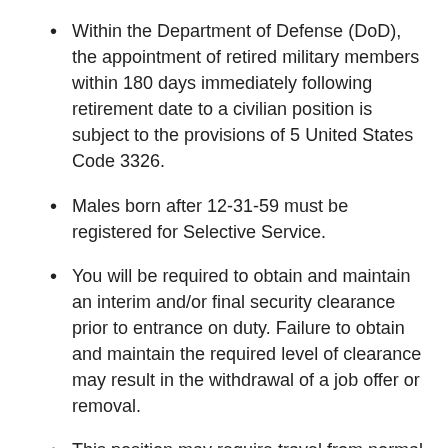Within the Department of Defense (DoD), the appointment of retired military members within 180 days immediately following retirement date to a civilian position is subject to the provisions of 5 United States Code 3326.
Males born after 12-31-59 must be registered for Selective Service.
You will be required to obtain and maintain an interim and/or final security clearance prior to entrance on duty. Failure to obtain and maintain the required level of clearance may result in the withdrawal of a job offer or removal.
This position may require travel from normal duty station to CONUS and OCONUS and may include remote or isolated sites. You must be able to travel on military and commercial aircraft for extended periods of time.